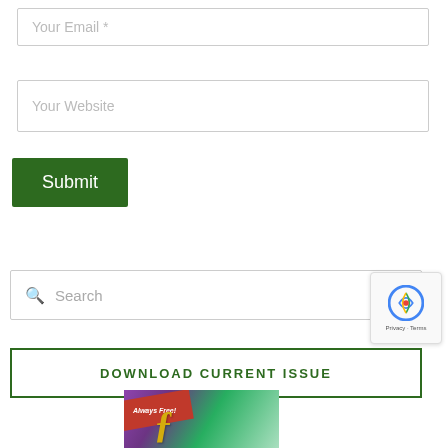Your Email *
Your Website
Submit
Search
DOWNLOAD CURRENT ISSUE
[Figure (photo): Magazine cover with purple/green background, red ribbon saying 'Always Free!' and a gold italic letter]